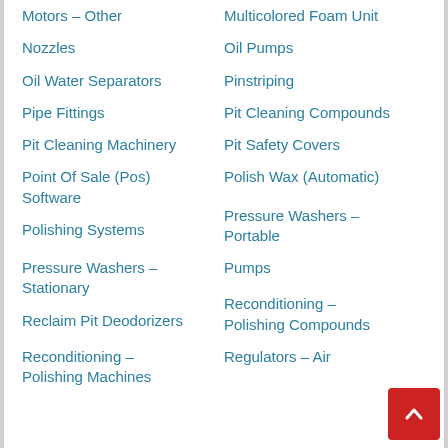Motors – Other
Multicolored Foam Unit
Nozzles
Oil Pumps
Oil Water Separators
Pinstriping
Pipe Fittings
Pit Cleaning Compounds
Pit Cleaning Machinery
Pit Safety Covers
Point Of Sale (Pos) Software
Polish Wax (Automatic)
Polishing Systems
Pressure Washers – Portable
Pressure Washers – Stationary
Pumps
Reclaim Pit Deodorizers
Reconditioning – Polishing Compounds
Reconditioning – Polishing Machines
Regulators – Air